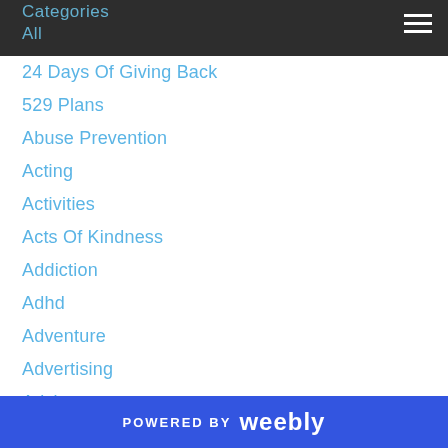Categories / All
24 Days Of Giving Back
529 Plans
Abuse Prevention
Acting
Activities
Acts Of Kindness
Addiction
Adhd
Adventure
Advertising
Advice
Advisor
Advisors
Advocate
Aggressive
POWERED BY weebly